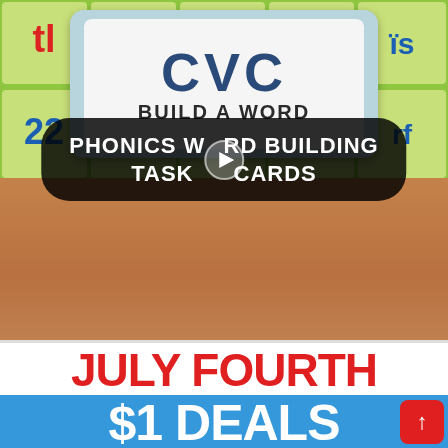[Figure (photo): Educational phonics word building task cards product video thumbnail. Top half shows colorful plastic magnetic letter tiles in a green grid tray with red and blue letters. Bottom half shows a CVC Build-A-Word task card in a plastic case. A black rounded rectangle overlay reads 'PHONICS WORD BUILDING TASK CARDS' with a play button icon.]
PHONICS WORD BUILDING TASK CARDS
CVC
BUILD A WORD
JULY FOURTH
$1 DEALS